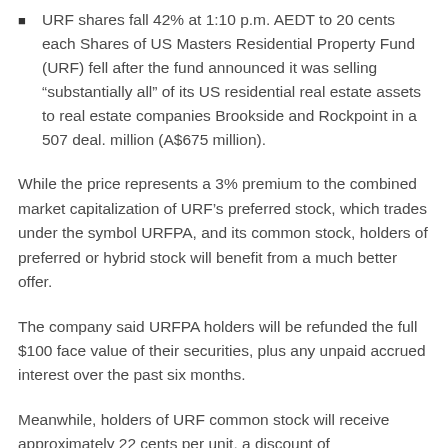URF shares fall 42% at 1:10 p.m. AEDT to 20 cents each Shares of US Masters Residential Property Fund (URF) fell after the fund announced it was selling “substantially all” of its US residential real estate assets to real estate companies Brookside and Rockpoint in a 507 deal. million (A$675 million).
While the price represents a 3% premium to the combined market capitalization of URF’s preferred stock, which trades under the symbol URFPA, and its common stock, holders of preferred or hybrid stock will benefit from a much better offer.
The company said URFPA holders will be refunded the full $100 face value of their securities, plus any unpaid accrued interest over the past six months.
Meanwhile, holders of URF common stock will receive approximately 22 cents per unit, a discount of approximately 38% to URF’s last closing price and 35% to its weighted average price. volume over three months.